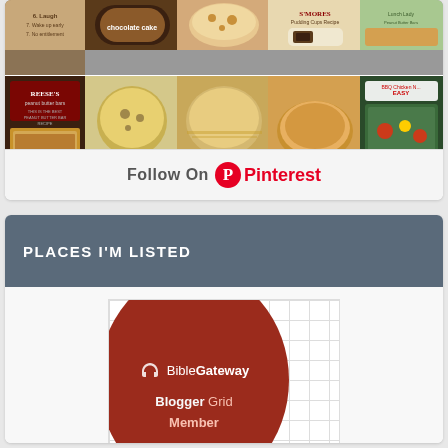[Figure (other): Pinterest board image grid showing food recipe photos including Reese's peanut butter bars, pistachio muffins, crumble cornflakes marshmallow, s'mores pudding recipe, and other food items]
Follow On Pinterest
PLACES I'M LISTED
[Figure (logo): BibleGateway Blogger Grid Member badge - circular dark red badge with headphone icon and BibleGateway Blogger Grid Member text]